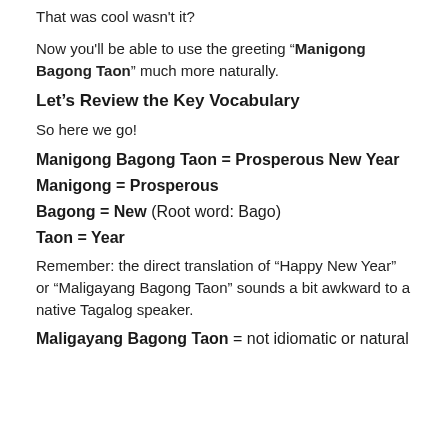That was cool wasn't it?
Now you'll be able to use the greeting “Manigong Bagong Taon” much more naturally.
Let’s Review the Key Vocabulary
So here we go!
Manigong Bagong Taon = Prosperous New Year
Manigong = Prosperous
Bagong = New (Root word: Bago)
Taon = Year
Remember: the direct translation of “Happy New Year” or “Maligayang Bagong Taon” sounds a bit awkward to a native Tagalog speaker.
Maligayang Bagong Taon = not idiomatic or natural